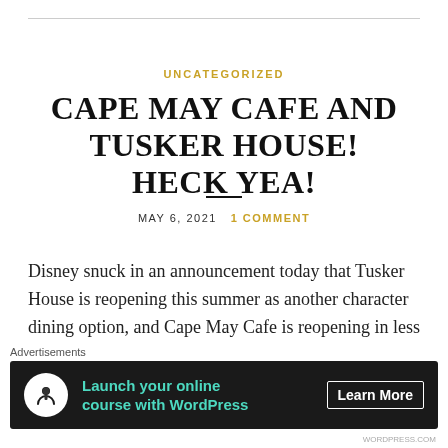UNCATEGORIZED
CAPE MAY CAFE AND TUSKER HOUSE! HECK YEA!
MAY 6, 2021   1 COMMENT
Disney snuck in an announcement today that Tusker House is reopening this summer as another character dining option, and Cape May Cafe is reopening in less than two weeks! What!!? May 18th! Hell yea. These are two favorite character dining options during regular times, so this is big news. I personally am
[Figure (screenshot): Advertisement banner: dark background with tree/person icon, text 'Launch your online course with WordPress', 'Learn More' button]